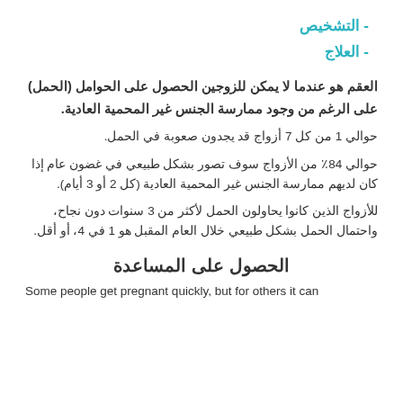- التشخيص
- العلاج
العقم هو عندما لا يمكن للزوجين الحصول على الحوامل (الحمل) على الرغم من وجود ممارسة الجنس غير المحمية العادية.
حوالي 1 من كل 7 أزواج قد يجدون صعوبة في الحمل.
حوالي 84٪ من الأزواج سوف تصور بشكل طبيعي في غضون عام إذا كان لديهم ممارسة الجنس غير المحمية العادية (كل 2 أو 3 أيام).
للأزواج الذين كانوا يحاولون الحمل لأكثر من 3 سنوات دون نجاح، واحتمال الحمل بشكل طبيعي خلال العام المقبل هو 1 في 4، أو أقل.
الحصول على المساعدة
Some people get pregnant quickly, but for others it can